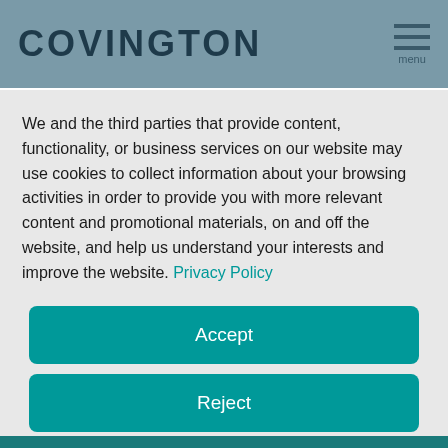COVINGTON
We and the third parties that provide content, functionality, or business services on our website may use cookies to collect information about your browsing activities in order to provide you with more relevant content and promotional materials, on and off the website, and help us understand your interests and improve the website. Privacy Policy
Accept
Reject